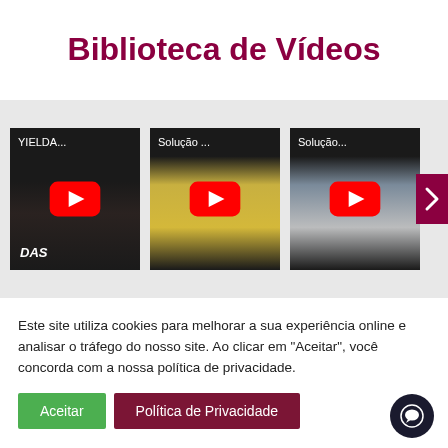Biblioteca de Vídeos
[Figure (screenshot): Three YouTube video thumbnails in a horizontal carousel on a gray background. First thumbnail shows 'YIELDA...' with DAS text at bottom. Second shows 'Solução ...' with yellow/diagram background. Third shows 'Solução...' with machinery background. Each has a red YouTube play button overlay. A dark red scroll arrow appears on the right edge.]
Este site utiliza cookies para melhorar a sua experiência online e analisar o tráfego do nosso site. Ao clicar em "Aceitar", você concorda com a nossa política de privacidade.
Aceitar
Política de Privacidade